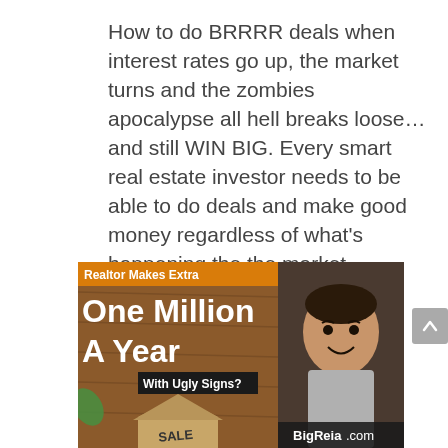How to do BRRRR deals when interest rates go up, the market turns and the zombies apocalypse all hell breaks loose... and still WIN BIG. Every smart real estate investor needs to be able to do deals and make good money regardless of what's happening the the market. ...
[Figure (photo): Advertisement banner for BigReia.com showing a realtor and text 'Realtor Makes Extra One Million A Year With Ugly Signs?' alongside a photo of a smiling man and a wooden house-shaped SALE sign on a wooden surface.]